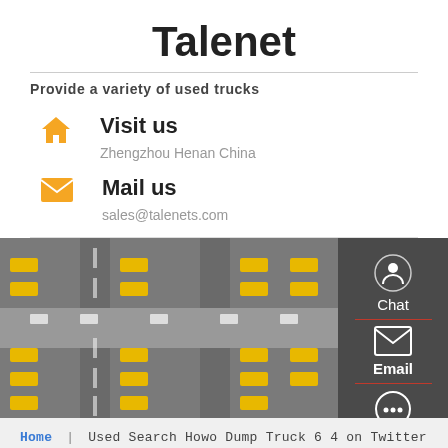Talenet
Provide a variety of used trucks
Visit us
Zhengzhou Henan China
Mail us
sales@talenets.com
[Figure (photo): Aerial view of a logistics yard with many yellow trucks lined up on gray asphalt roads]
Home | Used Search Howo Dump Truck 6 4 on Twitter